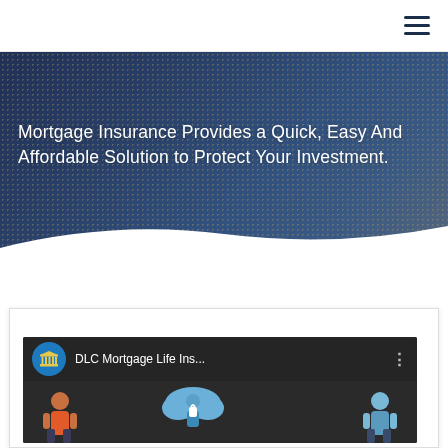Navigation menu
Mortgage Insurance Provides a Quick, Easy And Affordable Solution to Protect Your Investment.
[Figure (screenshot): YouTube video embed showing DLC Mortgage Life Insurance video with channel icon, title 'DLC Mortgage Life Ins...' and animated cartoon figures below]